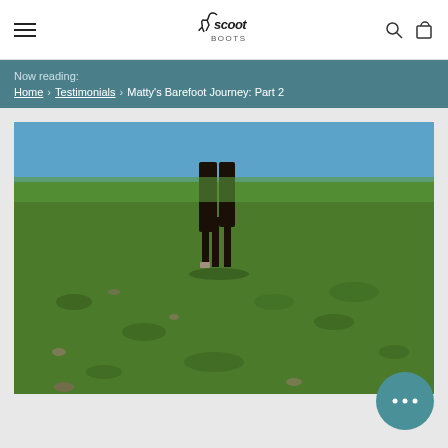Scoot Boots - Navigation header with hamburger menu, logo, search, and cart icons
Now reading:
Home › Testimonials › Matty's Barefoot Journey: Part 2
[Figure (photo): A horse standing on a green grassy hillside with scattered rocks, blue sky in background, taken from behind/side showing horse's legs and lower body]
[Figure (other): Chat support button with ellipsis icon, teal circle]